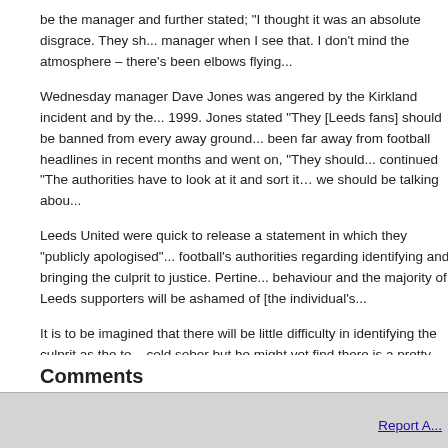be the manager and further stated; "I thought it was an absolute disgrace. They sh... manager when I see that. I don't mind the atmosphere – there's been elbows flying...
Wednesday manager Dave Jones was angered by the Kirkland incident and by the... 1999. Jones stated "They [Leeds fans] should be banned from every away ground... been far away from football headlines in recent months and went on, "They should... continued "The authorities have to look at it and sort it… we should be talking abou...
Leeds United were quick to release a statement in which they "publicly apologised"... football's authorities regarding identifying and bringing the culprit to justice. Pertine... behaviour and the majority of Leeds supporters will be ashamed of [the individual's...
It is to be imagined that there will be little difficulty in identifying the culprit as the te... cold sober but he might yet find there is a pretty severe hangover from his actions t...
Comments
Report A...